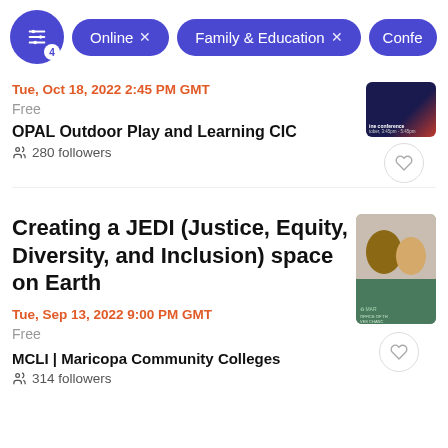[Figure (screenshot): Filter bar with settings icon (badge 4), 'Online x' pill, 'Family & Education x' pill, and partially visible 'Confe...' pill]
Tue, Oct 18, 2022 2:45 PM GMT
Free
OPAL Outdoor Play and Learning CIC
280 followers
Creating a JEDI (Justice, Equity, Diversity, and Inclusion) space on Earth
Tue, Sep 13, 2022 9:00 PM GMT
Free
MCLI | Maricopa Community Colleges
314 followers